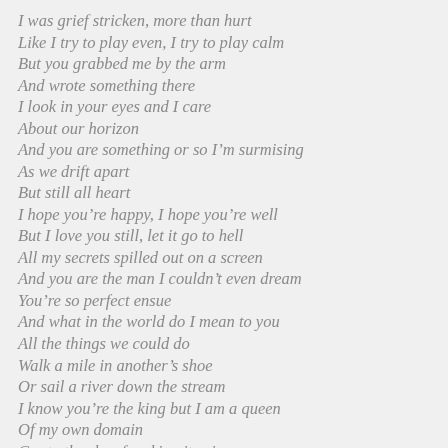I was grief stricken, more than hurt
Like I try to play even, I try to play calm
But you grabbed me by the arm
And wrote something there
I look in your eyes and I care
About our horizon
And you are something or so I'm surmising
As we drift apart
But still all heart
I hope you're happy, I hope you're well
But I love you still, let it go to hell
All my secrets spilled out on a screen
And you are the man I couldn't even dream
You're so perfect ensue
And what in the world do I mean to you
All the things we could do
Walk a mile in another's shoe
Or sail a river down the stream
I know you're the king but I am a queen
Of my own domain
Cry to the sky of making it rain